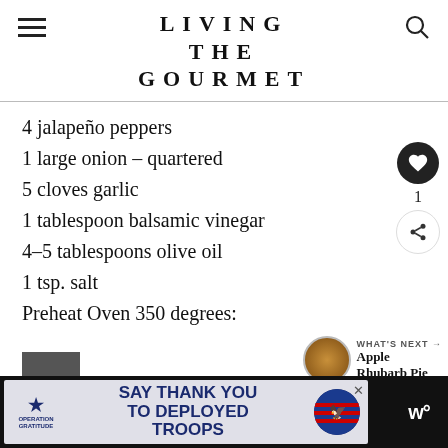LIVING THE GOURMET
4 jalapeño peppers
1 large onion – quartered
5 cloves garlic
1 tablespoon balsamic vinegar
4–5 tablespoons olive oil
1 tsp. salt
Preheat Oven 350 degrees:
WHAT'S NEXT → Apple Rhubarb Pie
[Figure (screenshot): Operation Gratitude ad banner: SAY THANK YOU TO DEPLOYED TROOPS, with patriotic imagery]